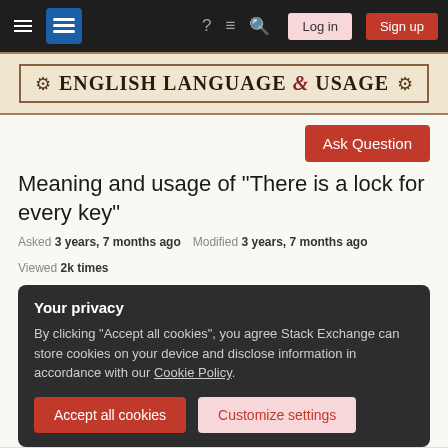Stack Exchange Navigation Bar with Log in and Sign up buttons
ENGLISH LANGUAGE & USAGE
Ask Question
Meaning and usage of "There is a lock for every key"
Asked 3 years, 7 months ago   Modified 3 years, 7 months ago   Viewed 2k times
Your privacy
By clicking "Accept all cookies", you agree Stack Exchange can store cookies on your device and disclose information in accordance with our Cookie Policy.
Accept all cookies   Customize settings
Now you listen to me. I know you feel like you